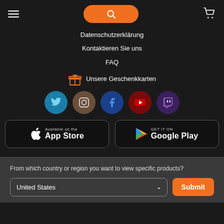[Figure (screenshot): Navigation bar with hamburger menu, orange search button, and cart icon]
Datenschutzerklärung
Kontaktieren Sie uns
FAQ
Unsere Geschenkkarten
[Figure (infographic): Social media icons row: Twitter, Instagram, Facebook, YouTube, Twitch]
[Figure (infographic): App store badges: Available on the App Store, Get it on Google Play]
From which country or region you want to view specific products?
United States
Submit